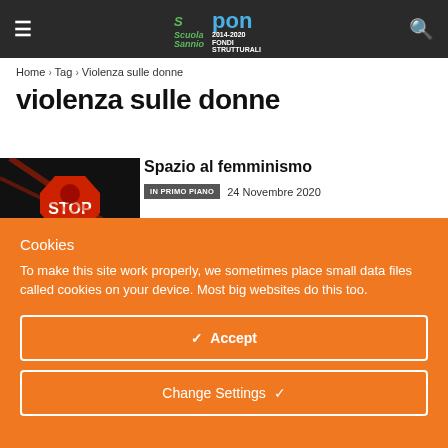≡   [Logo: Scuola Sannio / PON 2014-2020 FONDI STRUTTURALI]   🔍
Home › Tag › Violenza sulle donne
violenza sulle donne
[Figure (photo): Red STOP sign with fist graphic on dark background]
Spazio al femminismo
IN PRIMO PIANO   24 Novembre 2020
Cookies
To make this site work properly, we sometimes place small data files called cookies on your device. Most big websites do this too.
✓  Accept
Change Settings  ✓